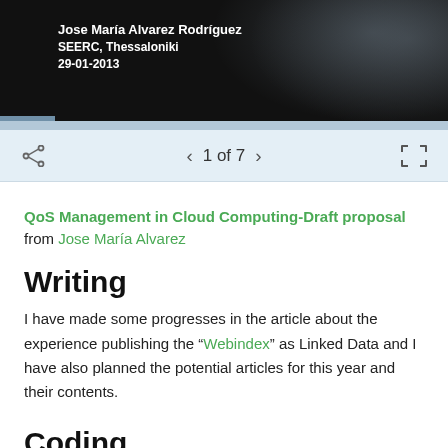[Figure (screenshot): Dark header image of a presentation slide showing: Jose Maria Alvarez Rodriguez, SEERC, Thessaloniki, 29-01-2013 in white bold text on black background with subtle light glow]
1 of 7
QoS Management in Cloud Computing-Draft proposal from Jose María Alvarez
Writing
I have made some progresses in the article about the experience publishing the “Webindex” as Linked Data and I have also planned the potential articles for this year and their contents.
Coding